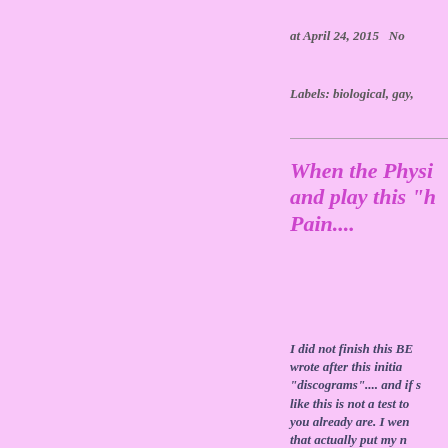at April 24, 2015   No
Labels: biological, gay,
When the Physi... and play this "h... Pain....
I did not finish this BE... wrote after this initia... "discograms".... and if s... like this is not a test to... you already are. I wen... that actually put my n... surgery about two yea...